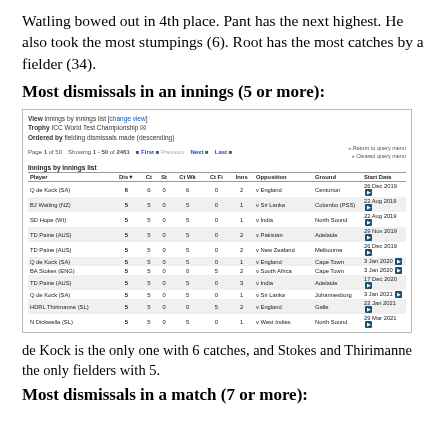Watling bowed out in 4th place. Pant has the next highest. He also took the most stumpings (6). Root has the most catches by a fielder (34).
Most dismissals in an innings (5 or more):
[Figure (screenshot): Screenshot of ICC World Test Championship innings-by-innings fielding dismissals list showing top 11 entries with 5 or more dismissals. Columns: Player, Dis, Ct, St, Ct Wk, Ct Fi, Inns, Opposition, Ground, Start Date. Entries include Q de Kock (SA) with 6, and multiple players with 5.]
de Kock is the only one with 6 catches, and Stokes and Thirimanne the only fielders with 5.
Most dismissals in a match (7 or more):